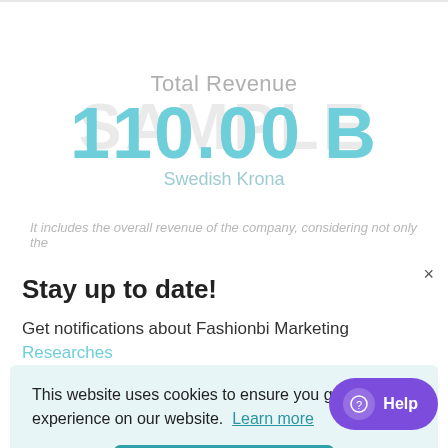Total Revenue
110.00 B
Swedish Krona
It includes the overall revenue of the company, considering not only the
Stay up to date!
Get notifications about Fashionbi Marketing Researches
This website uses cookies to ensure you get the best experience on our website. Learn more
Got it!
Help